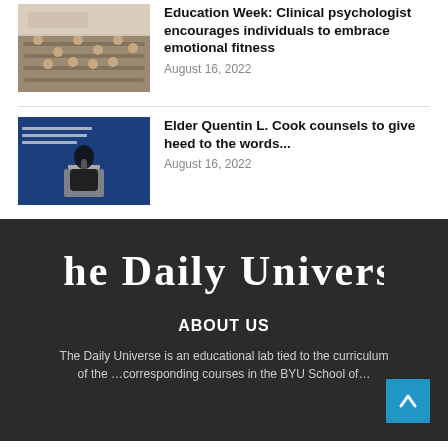[Figure (photo): Audience seated in a conference room, viewed from the back, at an Education Week event]
Education Week: Clinical psychologist encourages individuals to embrace emotional fitness
August 16, 2022
[Figure (photo): Elder Quentin L. Cook speaking at a podium with a blue background and a quote about truth]
Elder Quentin L. Cook counsels to give heed to the words...
August 16, 2022
[Figure (logo): The Daily Universe newspaper logo in white serif font on dark background]
ABOUT US
The Daily Universe is an educational lab tied to the curriculum of the …corresponding courses in the BYU School of…